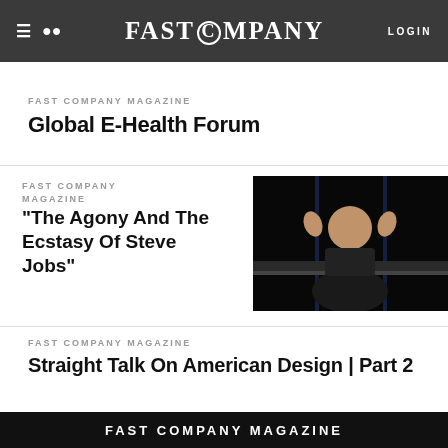FAST COMPANY — LOGIN
FAST COMPANY MAGAZINE
Global E-Health Forum
FAST COMPANY MAGAZINE
“The Agony And The Ecstasy Of Steve Jobs”
[Figure (photo): Man seated at a table on a dark stage, hands raised, glass of water visible]
FAST COMPANY MAGAZINE
Straight Talk On American Design | Part 2
FAST COMPANY MAGAZINE